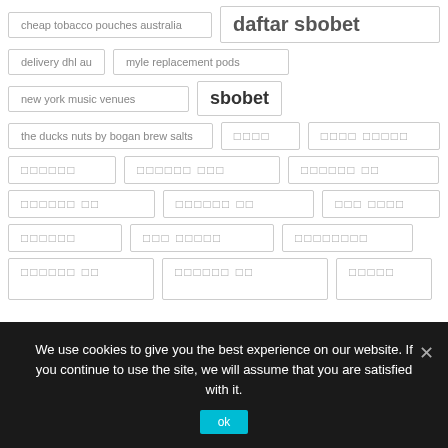cheap tobacco pouches australia
daftar sbobet
delivery dhl au
myle replacement pods
new york music venues
sbobet
the ducks nuts by bogan brew salts
[non-latin tag]
[non-latin tag]
[non-latin tag]
[non-latin tag]
[non-latin tag]
[non-latin tag]
[non-latin tag]
[non-latin tag]
[non-latin tag]
[non-latin tag]
[non-latin tag]
[non-latin tag]
[non-latin tag]
[non-latin tag]
We use cookies to give you the best experience on our website. If you continue to use the site, we will assume that you are satisfied with it.